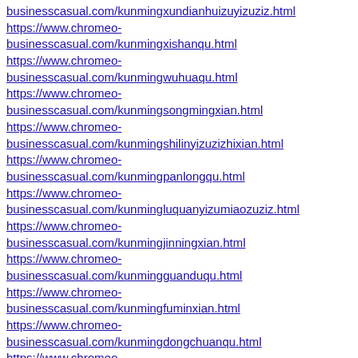businesscasual.com/kunmingxundianhuizuyizuziz.html
https://www.chromeo-businesscasual.com/kunmingxishanqu.html
https://www.chromeo-businesscasual.com/kunmingwuhuaqu.html
https://www.chromeo-businesscasual.com/kunmingsongmingxian.html
https://www.chromeo-businesscasual.com/kunmingshilinyizuzizhixian.html
https://www.chromeo-businesscasual.com/kunmingpanlongqu.html
https://www.chromeo-businesscasual.com/kunmingluquanyizumiaozuziz.html
https://www.chromeo-businesscasual.com/kunmingjinningxian.html
https://www.chromeo-businesscasual.com/kunmingguanduqu.html
https://www.chromeo-businesscasual.com/kunmingfuminxian.html
https://www.chromeo-businesscasual.com/kunmingdongchuanqu.html
https://www.chromeo-businesscasual.com/kunmingchenggongqu.html
https://www.chromeo-businesscasual.com/kunminganning.html
https://www.chromeo-businesscasual.com/kunming.html
https://www.chromeo-businesscasual.com/jiuquanyumen.html
https://www.chromeo-businesscasual.com/jiuquansuzhouqu.html
https://www.chromeo-businesscasual.com/jiuquanjintaxian.html
https://www.chromeo-businesscasual.com/jiuquanguazhouxian.html